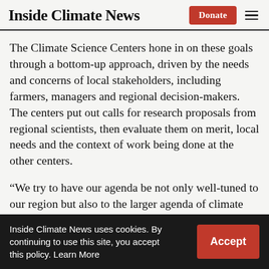Inside Climate News
The Climate Science Centers hone in on these goals through a bottom-up approach, driven by the needs and concerns of local stakeholders, including farmers, managers and regional decision-makers. The centers put out calls for research proposals from regional scientists, then evaluate them on merit, local needs and the context of work being done at the other centers.
“We try to have our agenda be not only well-tuned to our region but also to the larger agenda of climate research around the
Inside Climate News uses cookies. By continuing to use this site, you accept this policy. Learn More